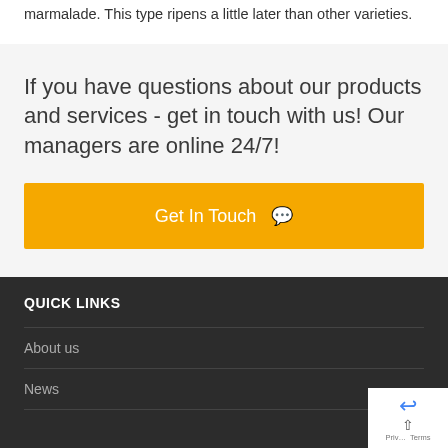marmalade. This type ripens a little later than other varieties.
If you have questions about our products and services - get in touch with us! Our managers are online 24/7!
Get In Touch
QUICK LINKS
About us
News